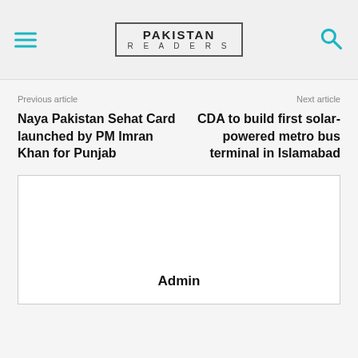PAKISTAN READERS
Previous article
Next article
Naya Pakistan Sehat Card launched by PM Imran Khan for Punjab
CDA to build first solar-powered metro bus terminal in Islamabad
Admin